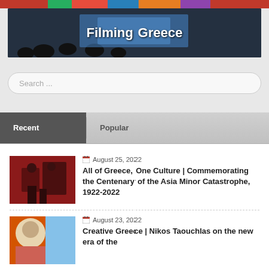[Figure (photo): Top banner strip with colorful images]
[Figure (photo): Filming Greece banner - dark auditorium with text overlay reading 'Filming Greece']
Search ...
Recent	Popular
August 25, 2022
All of Greece, One Culture | Commemorating the Centenary of the Asia Minor Catastrophe, 1922-2022
August 23, 2022
Creative Greece | Nikos Taouchlas on the new era of the